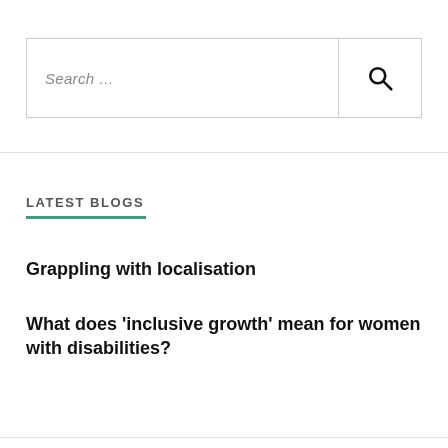[Figure (screenshot): Search bar with placeholder text 'Search ...' and a magnifying glass icon button on the right]
LATEST BLOGS
Grappling with localisation
What does ‘inclusive growth’ mean for women with disabilities?